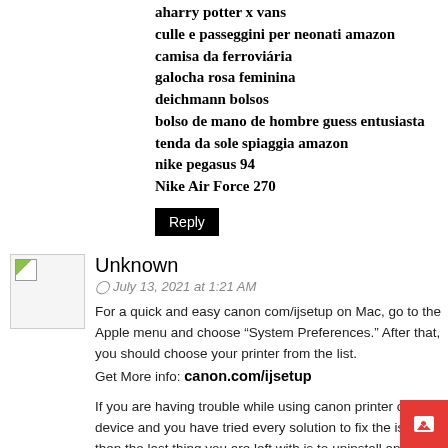aharry potter x vans
culle e passeggini per neonati amazon
camisa da ferroviária
galocha rosa feminina
deichmann bolsos
bolso de mano de hombre guess entusiasta
tenda da sole spiaggia amazon
nike pegasus 94
Nike Air Force 270
Reply
Unknown
July 13, 2021 at 1:21 AM
For a quick and easy canon com/ijsetup on Mac, go to the Apple menu and choose “System Preferences.” After that, you should choose your printer from the list.
Get More info: canon.com/ijsetup
If you are having trouble while using canon printer on your device and you have tried every solution to fix the issue, then the last thing you are left with is to uninstall and re-install the Canon Printer driver. So, in this article, we have clearly discussed how to uninstall the printer on a Mac. T